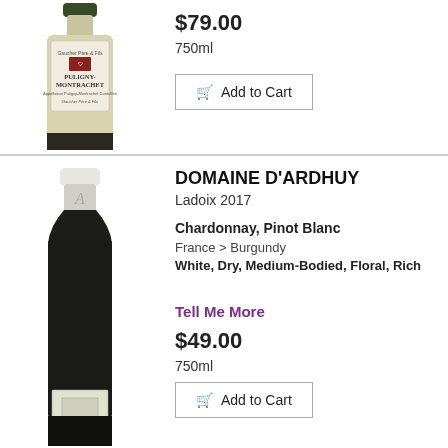[Figure (photo): Wine bottle for Puligny-Montrachet with white label]
$79.00
750ml
Add to Cart
[Figure (photo): Wine bottle for Domaine D'Ardhuy Ladoix 2017 with dark bottle and small label A]
DOMAINE D'ARDHUY
Ladoix 2017
Chardonnay, Pinot Blanc
France > Burgundy
White, Dry, Medium-Bodied, Floral, Rich
Tell Me More
$49.00
750ml
Add to Cart